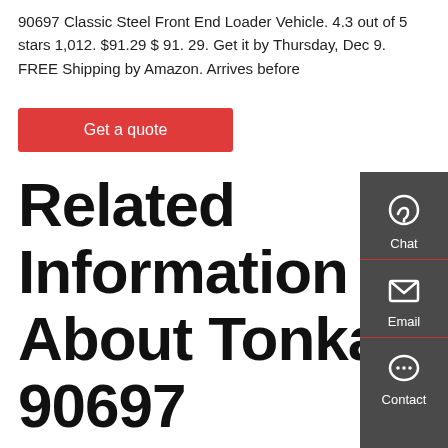90697 Classic Steel Front End Loader Vehicle. 4.3 out of 5 stars 1,012. $91.29 $ 91. 29. Get it by Thursday, Dec 9. FREE Shipping by Amazon. Arrives before
Get a quote
Related Information About Tonka 90697 Classic Steel Front